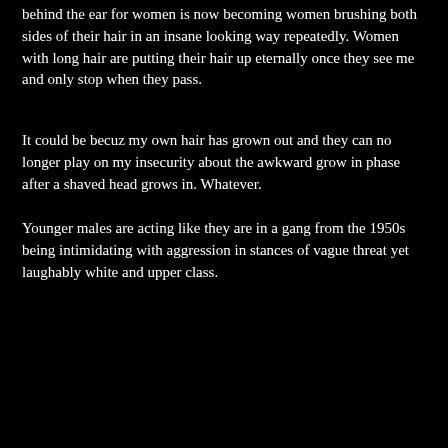behind the ear for women is now becoming women brushing both sides of their hair in an insane looking way repeatedly. Women with long hair are putting their hair up eternally once they see me and only stop when they pass.
It could be becuz my own hair has grown out and they can no longer play on my insecurity about the awkward grow in phase after a shaved head grows in. Whatever.
Younger males are acting like they are in a gang from the 1950s being intimidating with aggression in stances of vague threat yet laughably white and upper class.
I get ALOT of military and am very saddened to see uniformed Navy personelll partaking in psy ops. Maybe thats part of being in the military nowadays or defending the country.
I see alot of young plain clothes military either vetrans (lic plates) or guys on leave or not working who are very arrogant and thuggish about my being a target. They look like middle class types, low quality people who would be nowhere without the opportunities the military brings.
In the world of us upper, middle to lower middle and low class whites these